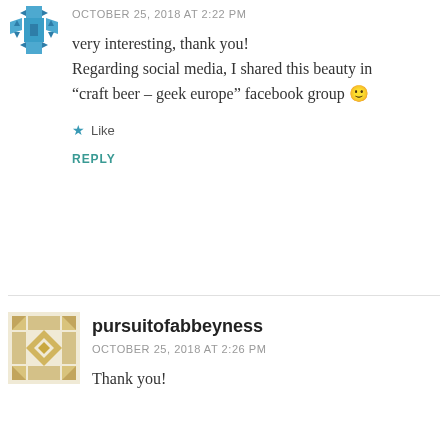[Figure (illustration): Small blue geometric/avatar icon top left]
OCTOBER 25, 2018 AT 2:22 PM
very interesting, thank you!
Regarding social media, I shared this beauty in
“craft beer – geek europe” facebook group 🙂
Like
REPLY
[Figure (illustration): Gold/yellow geometric diamond pattern avatar icon]
pursuitofabbeyness
OCTOBER 25, 2018 AT 2:26 PM
Thank you!